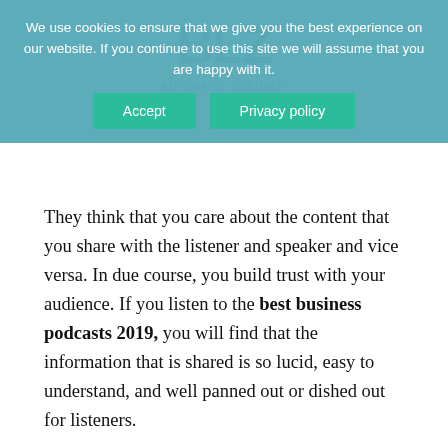We use cookies to ensure that we give you the best experience on our website. If you continue to use this site we will assume that you are happy with it. [Accept] [Privacy policy]
They think that you care about the content that you share with the listener and speaker and vice versa. In due course, you build trust with your audience. If you listen to the best business podcasts 2019, you will find that the information that is shared is so lucid, easy to understand, and well panned out or dished out for listeners.
Podcasting is not difficult
The steps to create a podcast are not difficult. The resources that you require for the podcast are not expensive and are available easily. However, to make the best business podcasts, you must have a good quality rode microphone and headphones. The software required for editing is free of cost and for uploading the files, all you need is stable internet connectivity, preferably a good Wi-